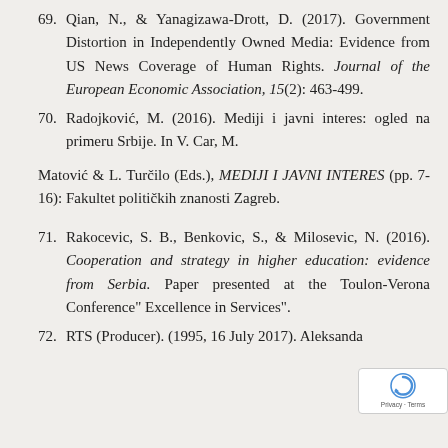69. Qian, N., & Yanagizawa-Drott, D. (2017). Government Distortion in Independently Owned Media: Evidence from US News Coverage of Human Rights. Journal of the European Economic Association, 15(2): 463-499.
70. Radojković, M. (2016). Mediji i javni interes: ogled na primeru Srbije. In V. Car, M.
Matović & L. Turčilo (Eds.), MEDIJI I JAVNI INTERES (pp. 7-16): Fakultet političkih znanosti Zagreb.
71. Rakocevic, S. B., Benkovic, S., & Milosevic, N. (2016). Cooperation and strategy in higher education: evidence from Serbia. Paper presented at the Toulon-Verona Conference" Excellence in Services".
72. RTS (Producer). (1995, 16 July 2017). Aleksanda